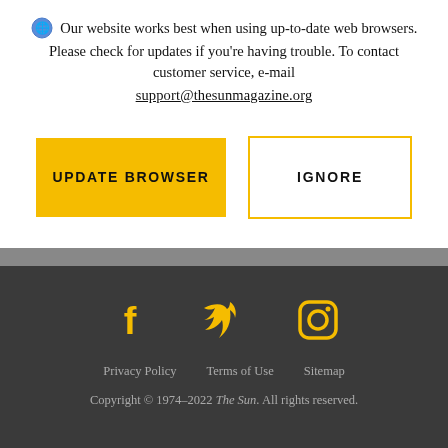Our website works best when using up-to-date web browsers. Please check for updates if you're having trouble. To contact customer service, e-mail support@thesunmagazine.org
[Figure (other): Two buttons: a filled yellow 'UPDATE BROWSER' button and an outlined yellow 'IGNORE' button]
[Figure (other): Social media icons for Facebook, Twitter, and Instagram in yellow on dark background]
Privacy Policy   Terms of Use   Sitemap
Copyright © 1974–2022 The Sun. All rights reserved.